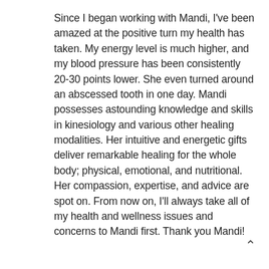Since I began working with Mandi, I've been amazed at the positive turn my health has taken. My energy level is much higher, and my blood pressure has been consistently 20-30 points lower. She even turned around an abscessed tooth in one day. Mandi possesses astounding knowledge and skills in kinesiology and various other healing modalities. Her intuitive and energetic gifts deliver remarkable healing for the whole body; physical, emotional, and nutritional. Her compassion, expertise, and advice are spot on. From now on, I'll always take all of my health and wellness issues and concerns to Mandi first. Thank you Mandi!